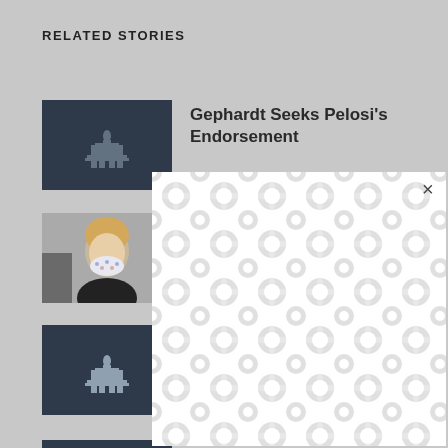RELATED STORIES
[Figure (screenshot): Related Stories section with four story cards. First card shows dark navy thumbnail with capitol building icon and title 'Gephardt Seeks Pelosi's Endorsement'. Second card shows a photo of a woman wearing a floral mask. Third card shows dark navy thumbnail with capitol icon. Fourth card shows dark navy thumbnail with capitol icon and partial text '...upport'. An advertisement overlay panel with a repeating curved connector pattern covers cards 2-4, with an X close button in the top right of the overlay.]